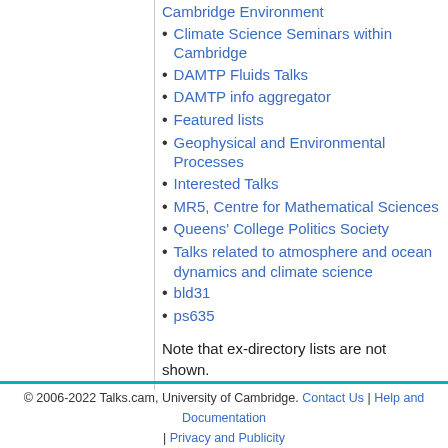Cambridge Environment
Climate Science Seminars within Cambridge
DAMTP Fluids Talks
DAMTP info aggregator
Featured lists
Geophysical and Environmental Processes
Interested Talks
MR5, Centre for Mathematical Sciences
Queens' College Politics Society
Talks related to atmosphere and ocean dynamics and climate science
bld31
ps635
Note that ex-directory lists are not shown.
© 2006-2022 Talks.cam, University of Cambridge. Contact Us | Help and Documentation | Privacy and Publicity